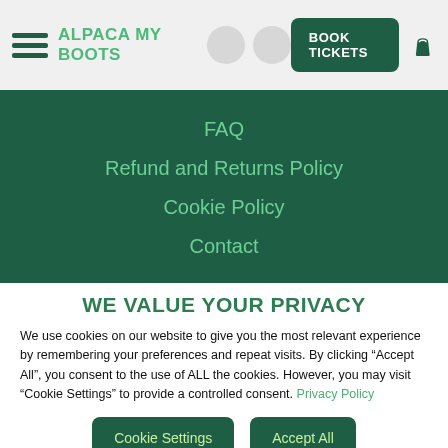ALPACA MY BOOTS
FAQ
Refund and Returns Policy
Cookie Policy
Contact
WE VALUE YOUR PRIVACY
We use cookies on our website to give you the most relevant experience by remembering your preferences and repeat visits. By clicking “Accept All”, you consent to the use of ALL the cookies. However, you may visit “Cookie Settings” to provide a controlled consent. Privacy Policy